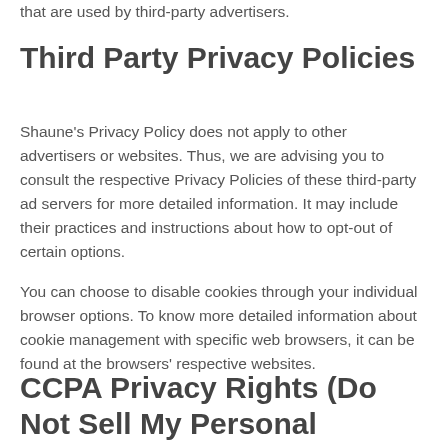that are used by third-party advertisers.
Third Party Privacy Policies
Shaune's Privacy Policy does not apply to other advertisers or websites. Thus, we are advising you to consult the respective Privacy Policies of these third-party ad servers for more detailed information. It may include their practices and instructions about how to opt-out of certain options.
You can choose to disable cookies through your individual browser options. To know more detailed information about cookie management with specific web browsers, it can be found at the browsers' respective websites.
CCPA Privacy Rights (Do Not Sell My Personal Information)